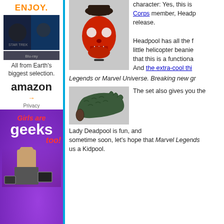[Figure (photo): Amazon advertisement with 'ENJOY.' in orange text, movie/blu-ray cover images, 'All from Earth's biggest selection.' text, amazon logo with arrow]
[Figure (photo): Purple advertisement for 'Girls are geeks too!' with person silhouette and device icons]
[Figure (photo): Red skull Headpool action figure head with dark top hat/beanie]
character: Yes, this is Corps member, Headp release.
Headpool has all the f little helicopter beanie that this is a functiona And the extra-cool thi
Legends or Marvel Universe. Breaking new gr
[Figure (photo): Green scaly arm/glove piece from action figure set]
The set also gives you the
Lady Deadpool is fun, and sometime soon, let's hope that Marvel Legends us a Kidpool.